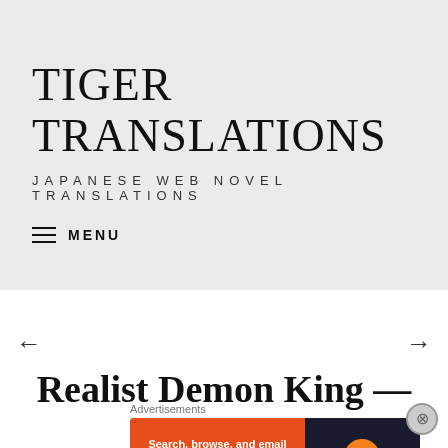TIGER TRANSLATIONS
JAPANESE WEB NOVEL TRANSLATIONS
≡ MENU
[Figure (screenshot): Navigation arrows (left arrow and right arrow) for chapter navigation]
Realist Demon King —
Advertisements
[Figure (screenshot): DuckDuckGo advertisement banner: 'Search, browse, and email with more privacy. All in One Free App' with DuckDuckGo logo on dark background]